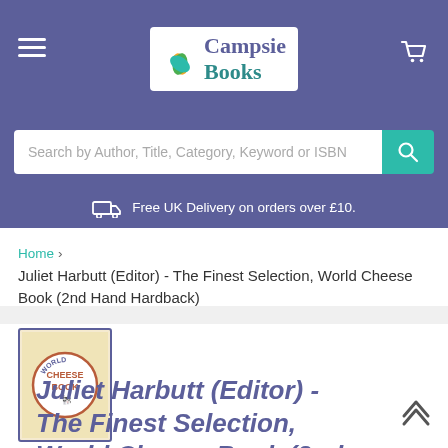[Figure (logo): Campsie Books logo with colourful book-fan icon, white background, inside purple header bar]
Search by Author, Title, Category, Keyword or ISBN
Free UK Delivery on orders over £10.
Home > Juliet Harbutt (Editor) - The Finest Selection, World Cheese Book (2nd Hand Hardback)
[Figure (photo): Thumbnail of the World Cheese Book cover showing 'World Cheese Book' text and a cow illustration]
Juliet Harbutt (Editor) - The Finest Selection, World Cheese Book (2nd Hand Hardback)